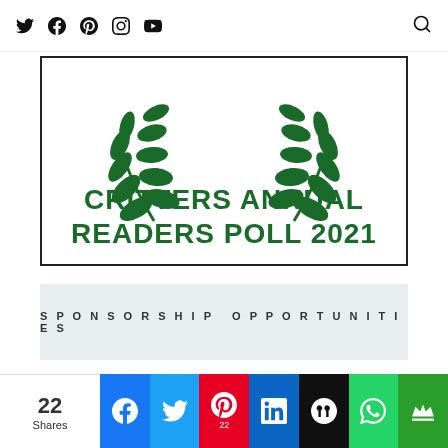Social media navigation icons and search
[Figure (logo): Critters Annual Readers Poll 2021 logo with green laurel wreaths on white background with black border]
SPONSORSHIP OPPORTUNITIES
[Figure (illustration): Teal/green colored card with white border frame, partially visible]
22 Shares — social share bar with Facebook, Twitter, Pinterest (22), LinkedIn, Hootsuite, WhatsApp, Crown icons